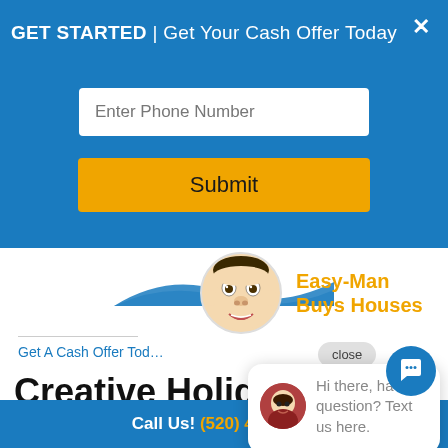GET STARTED | Get Your Cash Offer Today
Enter Phone Number
Submit
[Figure (logo): Easy-Man Buys Houses logo with caricature face and blue arc]
close
Get A Cash Offer Tod...
Hi there, have a question? Text us here.
Creative Holiday Themed Open House Ideas for
Call Us! (520) 465-4062